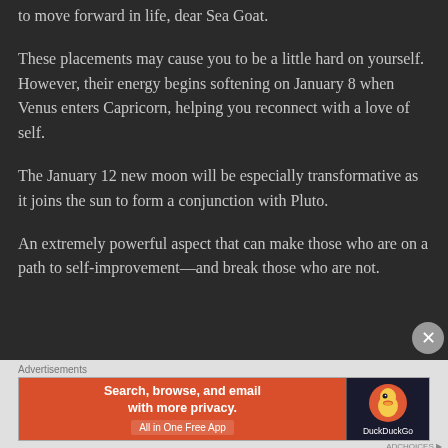to move forward in life, dear Sea Goat.
These placements may cause you to be a little hard on yourself. However, their energy begins softening on January 8 when Venus enters Capricorn, helping you reconnect with a love of self.
The January 12 new moon will be especially transformative as it joins the sun to form a conjunction with Pluto.
An extremely powerful aspect that can make those who are on a path to self-improvement—and break those who are not.
[Figure (screenshot): DuckDuckGo advertisement banner with orange left panel reading 'Search, browse, and email with more privacy. All in One Free App' and dark right panel with DuckDuckGo duck logo and brand name.]